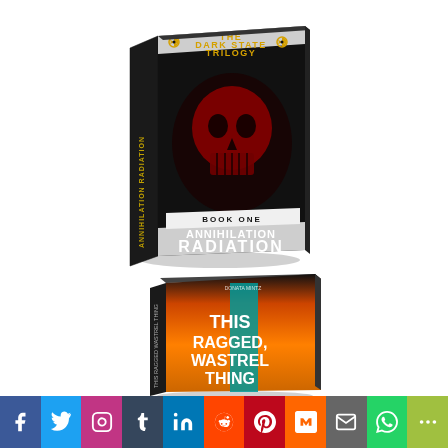[Figure (illustration): 3D book cover mockup for 'Annihilation Radiation' Book One of The Dark State Trilogy. Black cover with red skull image, radiation symbols, white grunge text.]
[Figure (illustration): 3D book cover mockup for 'This Ragged, Wastrel Thing' by Donata Mintz. Dark cover with orange and teal abstract design and bold white title text.]
[Figure (infographic): Social media sharing bar with icons for Facebook, Twitter, Instagram, Tumblr, LinkedIn, Reddit, Pinterest, Mix, Email, WhatsApp, and More.]